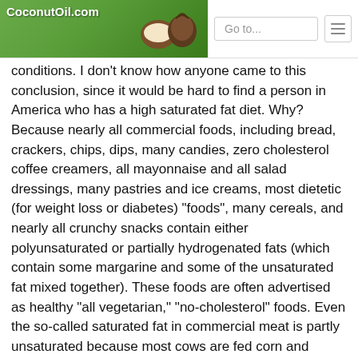CoconutOil.com
conditions. I don't know how anyone came to this conclusion, since it would be hard to find a person in America who has a high saturated fat diet. Why? Because nearly all commercial foods, including bread, crackers, chips, dips, many candies, zero cholesterol coffee creamers, all mayonnaise and all salad dressings, many pastries and ice creams, most dietetic (for weight loss or diabetes) “foods”, many cereals, and nearly all crunchy snacks contain either polyunsaturated or partially hydrogenated fats (which contain some margarine and some of the unsaturated fat mixed together). These foods are often advertised as healthy “all vegetarian,” “no-cholesterol” foods. Even the so-called saturated fat in commercial meat is partly unsaturated because most cows are fed corn and soybeans, both of which contain unsaturated oils.
Are there any people who live on saturated fats who are healthy? Yes! People who live in tropical climates and who have a diet high in coconut oil are healthier, have less heart disease, cancer and bowel problems than the average American...